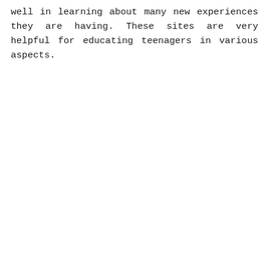well in learning about many new experiences they are having. These sites are very helpful for educating teenagers in various aspects.